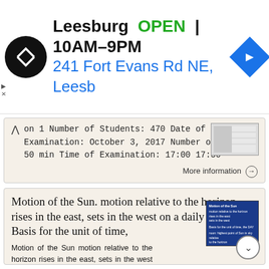[Figure (screenshot): Leesburg store ad banner: logo, OPEN status, hours 10AM-9PM, address 241 Fort Evans Rd NE, Leesb, navigation icon]
on 1 Number of Students: 470 Date of Examination: October 3, 2017 Number of hours: 50 min Time of Examination: 17:00 17:50
More information →
Motion of the Sun. motion relative to the horizon. rises in the east, sets in the west on a daily basis. Basis for the unit of time,
Motion of the Sun motion relative to the horizon rises in the east, sets in the west on a daily basis Basis for the unit of time, the DAY noon: highest point of Sun in sky relative to the horizon 1 altitude: